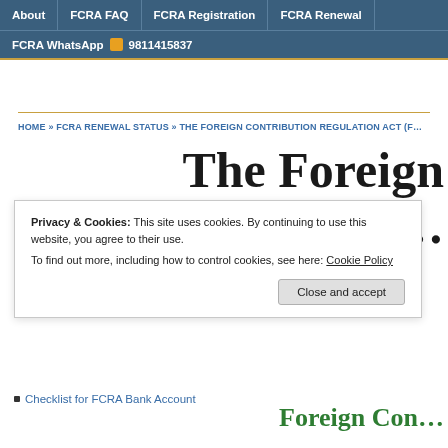About | FCRA FAQ | FCRA Registration | FCRA Renewal | FCRA WhatsApp 9811415837
HOME » FCRA RENEWAL STATUS » THE FOREIGN CONTRIBUTION REGULATION ACT (F…
The Foreign Regulation A…
Privacy & Cookies: This site uses cookies. By continuing to use this website, you agree to their use.
To find out more, including how to control cookies, see here: Cookie Policy
Close and accept
Checklist for FCRA Bank Account
Foreign Con…